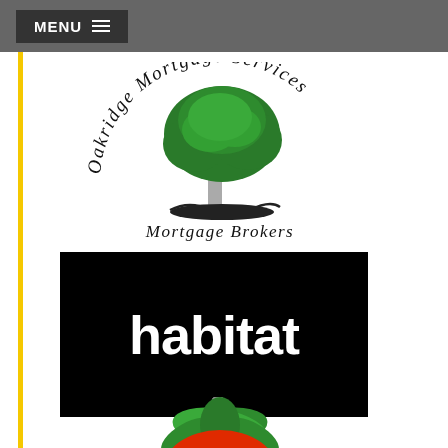MENU ≡
[Figure (logo): Oakridge Mortgage Services — circular text logo with green oak tree illustration and text 'Mortgage Brokers' below]
[Figure (logo): Habitat logo — white rounded bold lowercase 'habitat' text on black rectangular background]
[Figure (illustration): Partial view of a strawberry illustration (red strawberry with green leaves), cropped at bottom of page]